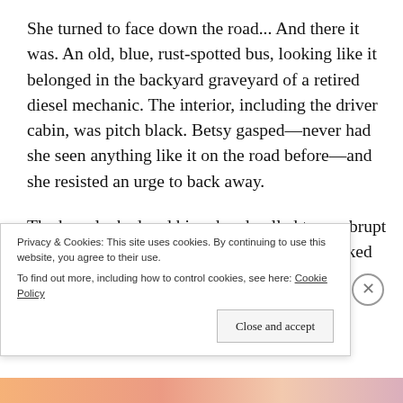She turned to face down the road... And there it was. An old, blue, rust-spotted bus, looking like it belonged in the backyard graveyard of a retired diesel mechanic. The interior, including the driver cabin, was pitch black. Betsy gasped—never had she seen anything like it on the road before—and she resisted an urge to back away.
The bus clanked and hissed and pulled to an abrupt stop in front of her, and the shutter doors creaked
Privacy & Cookies: This site uses cookies. By continuing to use this website, you agree to their use. To find out more, including how to control cookies, see here: Cookie Policy
Close and accept